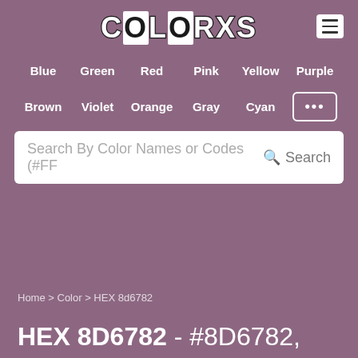COLORXS
Blue  Green  Red  Pink  Yellow  Purple
Brown  Violet  Orange  Gray  Cyan  ...
Search By Color Names or Codes (#FF  Search
Home > Color > HEX 8d6782
HEX 8D6782 - #8D6782,